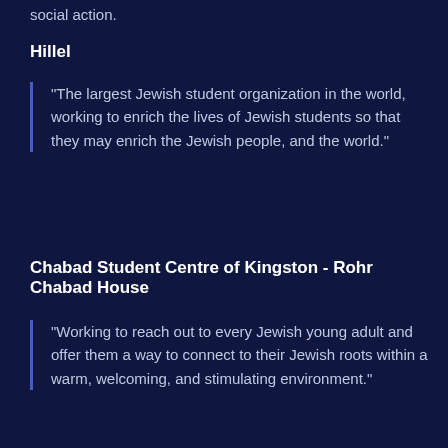social action.
Hillel
"The largest Jewish student organization in the world, working to enrich the lives of Jewish students so that they may enrich the Jewish people, and the world."
Chabad Student Centre of Kingston - Rohr Chabad House
"Working to reach out to every Jewish young adult and offer them a way to connect to their Jewish roots within a warm, welcoming, and stimulating environment."